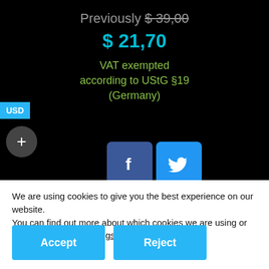Previously $39,00
$ 21,70
VAT exempted according to UStG §19 (Germany)
USD
[Figure (screenshot): Social share buttons: Facebook (blue), Twitter (light blue), Pinterest (red), LinkedIn (teal blue), Xing (teal), and another green button]
We are using cookies to give you the best experience on our website.
You can find out more about which cookies we are using or switch them off in settings.
Accept
Reject